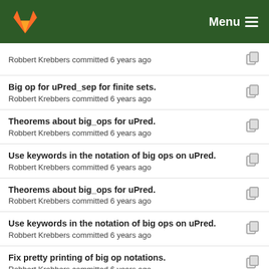GitLab Menu
Robbert Krebbers committed 6 years ago
Big op for uPred_sep for finite sets.
Robbert Krebbers committed 6 years ago
Theorems about big_ops for uPred.
Robbert Krebbers committed 6 years ago
Use keywords in the notation of big ops on uPred.
Robbert Krebbers committed 6 years ago
Theorems about big_ops for uPred.
Robbert Krebbers committed 6 years ago
Use keywords in the notation of big ops on uPred.
Robbert Krebbers committed 6 years ago
Fix pretty printing of big op notations.
Robbert Krebbers committed 6 years ago
Preliminary version of big_op over uPred for fin_...
Robbert Krebbers committed 6 years ago